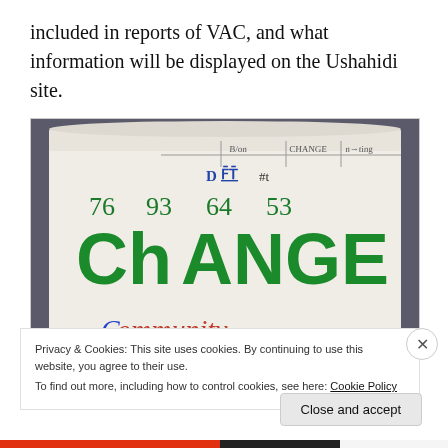included in reports of VAC, and what information will be displayed on the Ushahidi site.
[Figure (photo): Photo of a whiteboard/flipchart paper showing handwritten text: numbers '76 93 64 53', large green letters 'ChANGE', and below in blue/red 'community'. There are also small handwritten column headers at the top.]
Privacy & Cookies: This site uses cookies. By continuing to use this website, you agree to their use.
To find out more, including how to control cookies, see here: Cookie Policy
Close and accept